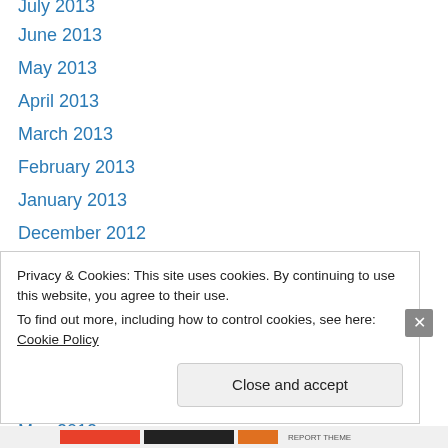July 2013
June 2013
May 2013
April 2013
March 2013
February 2013
January 2013
December 2012
October 2012
September 2012
August 2012
July 2012
June 2012
May 2012
Privacy & Cookies: This site uses cookies. By continuing to use this website, you agree to their use. To find out more, including how to control cookies, see here: Cookie Policy
Close and accept